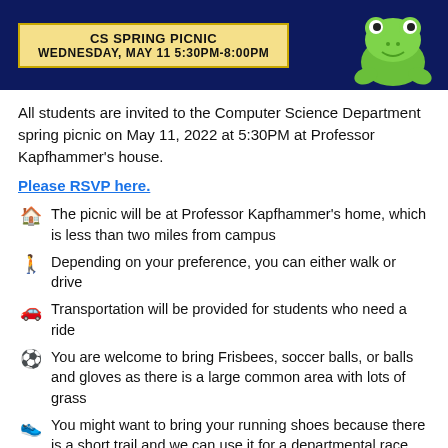[Figure (illustration): Dark navy blue banner with a yellow/tan box showing event title 'CS SPRING PICNIC' and date 'WEDNESDAY, MAY 11 5:30PM-8:00PM', with a cartoon frog on the right side]
All students are invited to the Computer Science Department spring picnic on May 11, 2022 at 5:30PM at Professor Kapfhammer’s house.
Please RSVP here.
🏠 The picnic will be at Professor Kapfhammer’s home, which is less than two miles from campus
🚶 Depending on your preference, you can either walk or drive
🚗 Transportation will be provided for students who need a ride
⚽ You are welcome to bring Frisbees, soccer balls, or balls and gloves as there is a large common area with lots of grass
👟 You might want to bring your running shoes because there is a short trail and we can use it for a departmental race
🥕 We will provide a range of delicious foods so that you can enjoy a full dinner off-campus in a relaxed environment
😁 If you have any food allergies, please note them on the RSVP